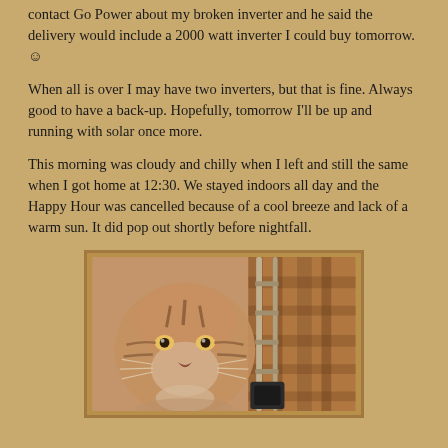contact Go Power about my broken inverter and he said the delivery would include a 2000 watt inverter I could buy tomorrow. ☺
When all is over I may have two inverters, but that is fine. Always good to have a back-up. Hopefully, tomorrow I'll be up and running with solar once more.
This morning was cloudy and chilly when I left and still the same when I got home at 12:30. We stayed indoors all day and the Happy Hour was cancelled because of a cool breeze and lack of a warm sun. It did pop out shortly before nightfall.
[Figure (photo): A photo showing a tiger's face airbrushed on a surface (possibly an RV), with a metal ladder structure visible on the right side and a plaid/checkered pattern in the background.]